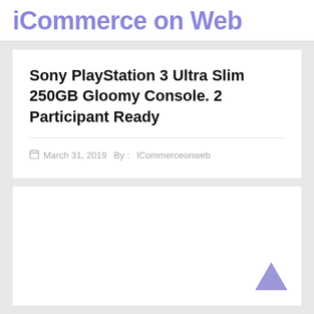iCommerce on Web
Sony PlayStation 3 Ultra Slim 250GB Gloomy Console. 2 Participant Ready
March 31, 2019   By : ICommerceonweb